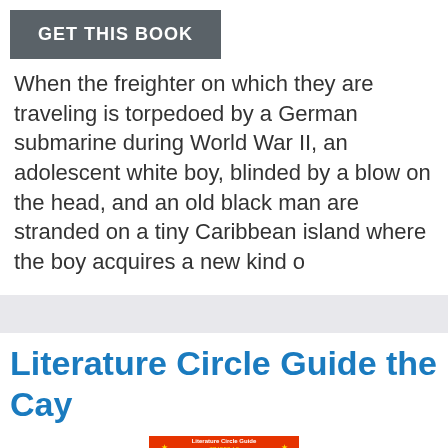GET THIS BOOK
When the freighter on which they are traveling is torpedoed by a German submarine during World War II, an adolescent white boy, blinded by a blow on the head, and an old black man are stranded on a tiny Caribbean island where the boy acquires a new kind o
Literature Circle Guide the Cay
[Figure (photo): Book cover of 'Literature Circle Guide: The Cay' with red background and bold title text]